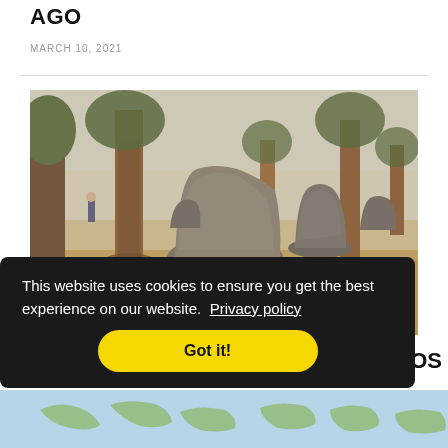AGO
MARCH 10, 2021
[Figure (photo): Archaeological site with large stone jars/megaliths among trees on dry grassland, foggy atmosphere, a person visible in the background]
ARCHAEOLOGY   ANTHROPOLOGY
OS
This website uses cookies to ensure you get the best experience on our website. Privacy policy
Got it!
[Figure (map): Partial map visible at bottom of page]